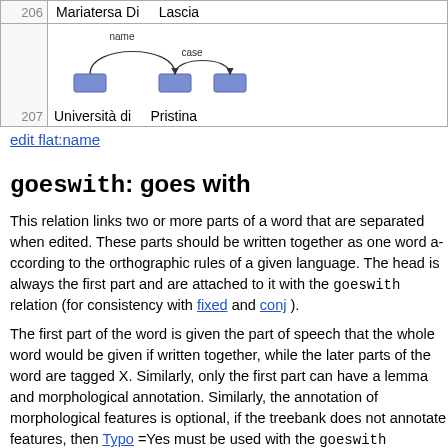| # | Content |
| --- | --- |
| 206 | Mariatersa Di   Lascia |
| 207 | [diagram] Università di   Pristina |
edit flat:name
goeswith: goes with
This relation links two or more parts of a word that are separated when edited. These parts should be written together as one word according to the orthographic rules of a given language. The head is always the first part and the rest are attached to it with the goeswith relation (for consistency with fixed and conj).
The first part of the word is given the part of speech that the whole word would be given if written together, while the later parts of the word are tagged X. Similarly, only the first part can have a lemma and morphological annotation. Similarly, the annotation of morphological features is optional, if the treebank does not annotate features, then Typo =Yes must be used with the goeswith